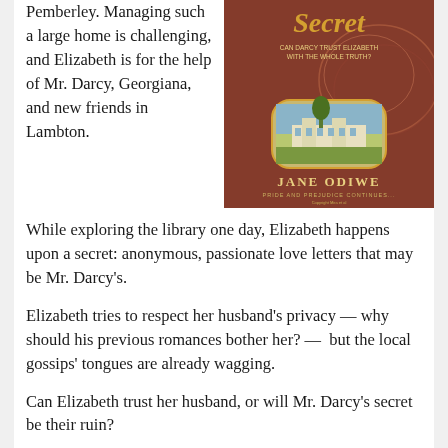Pemberley. Managing such a large home is challenging, and Elizabeth is for the help of Mr. Darcy, Georgiana, and new friends in Lambton.
[Figure (photo): Book cover of 'Mr. Darcy's Secret' by Jane Odiwe. Shows a Regency-era scene with ornate golden script title, subtitle 'Can Darcy Trust Elizabeth With The Whole Truth?', an inset image of a grand estate (Pemberley), and the tagline 'Pride and Prejudice Continues...']
While exploring the library one day, Elizabeth happens upon a secret: anonymous, passionate love letters that may be Mr. Darcy's.
Elizabeth tries to respect her husband's privacy — why should his previous romances bother her? —  but the local gossips' tongues are already wagging.
Can Elizabeth trust her husband, or will Mr. Darcy's secret be their ruin?
Sweet, sweet, brain candy
I didn't pick up Mr. Darcy's Secret expecting Pulitzer prize-